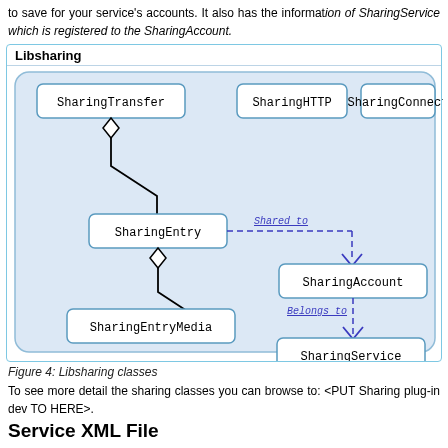to save for your service's accounts. It also has the information of SharingService which is registered to the SharingAccount.
[Figure (engineering-diagram): UML class diagram showing Libsharing classes: SharingTransfer, SharingHTTP, SharingConnection (partially visible), SharingEntry (aggregated by SharingTransfer, aggregates SharingEntryMedia), SharingAccount (linked to SharingEntry via 'Shared to' dashed arrow), and SharingService (linked to SharingAccount via 'Belongs to' dashed arrow).]
Figure 4: Libsharing classes
To see more detail the sharing classes you can browse to: <PUT Sharing plug-in dev TO HERE>.
Service XML File